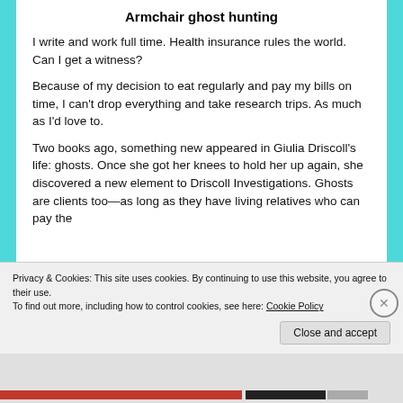Armchair ghost hunting
I write and work full time. Health insurance rules the world. Can I get a witness?
Because of my decision to eat regularly and pay my bills on time, I can't drop everything and take research trips. As much as I'd love to.
Two books ago, something new appeared in Giulia Driscoll's life: ghosts. Once she got her knees to hold her up again, she discovered a new element to Driscoll Investigations. Ghosts are clients too—as long as they have living relatives who can pay the
Privacy & Cookies: This site uses cookies. By continuing to use this website, you agree to their use.
To find out more, including how to control cookies, see here: Cookie Policy
Close and accept